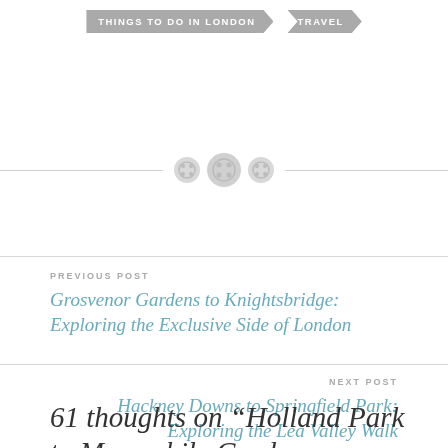THINGS TO DO IN LONDON  TRAVEL
[Figure (illustration): Decorative horizontal divider with three button/circle icons in the center]
PREVIOUS POST
Grosvenor Gardens to Knightsbridge: Exploring the Exclusive Side of London
NEXT POST
Hackney Downs to Springfield Park: Exploring the Lea Valley Walk
61 thoughts on “Holland Park to Meanwhile Gardens: Discovering